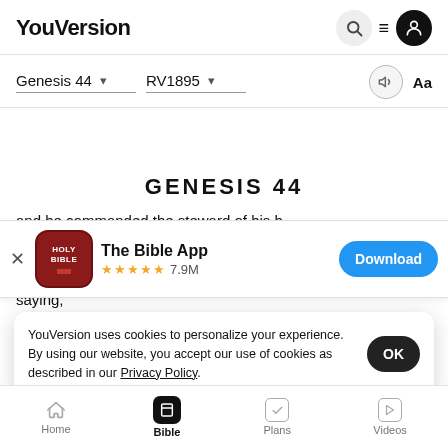YouVersion
Genesis 44   RV1895
GENESIS 44
and he commanded the steward of his h
saying,
they can carry, and put every man's money in his
[Figure (screenshot): The Bible App banner with Holy Bible app icon, name 'The Bible App', 5 gold stars rating, 7.9M reviews, and a blue 'Download' button]
YouVersion uses cookies to personalize your experience. By using our website, you accept our use of cookies as described in our Privacy Policy.
Home   Bible   Plans   Videos